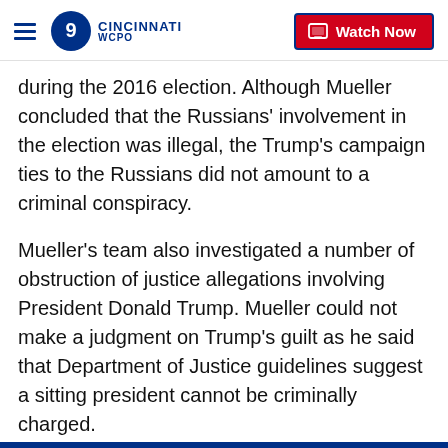WCPO 9 Cincinnati | Watch Now
during the 2016 election. Although Mueller concluded that the Russians' involvement in the election was illegal, the Trump's campaign ties to the Russians did not amount to a criminal conspiracy.
Mueller's team also investigated a number of obstruction of justice allegations involving President Donald Trump. Mueller could not make a judgment on Trump's guilt as he said that Department of Justice guidelines suggest a sitting president cannot be criminally charged.
Copyright 2022 Scripps Media, Inc. All rights reserved. This material may not be published, broadcast, rewritten, or redistributed.